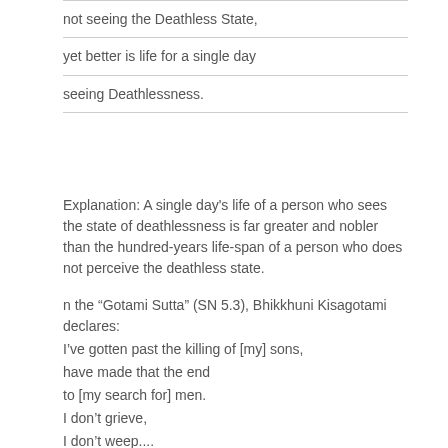not seeing the Deathless State,
yet better is life for a single day
seeing Deathlessness.
Explanation: A single day's life of a person who sees the state of deathlessness is far greater and nobler than the hundred-years life-span of a person who does not perceive the deathless state.
n the “Gotami Sutta” (SN 5.3), Bhikkhuni Kisagotami declares:
I’ve gotten past the killing of [my] sons,
have made that the end
to [my search for] men.
I don’t grieve,
I don’t weep....
It’s everywhere destroyed delight.
The mass of darkness is shattered.
Having defeated the army of death,
free of fermentations I dwell.